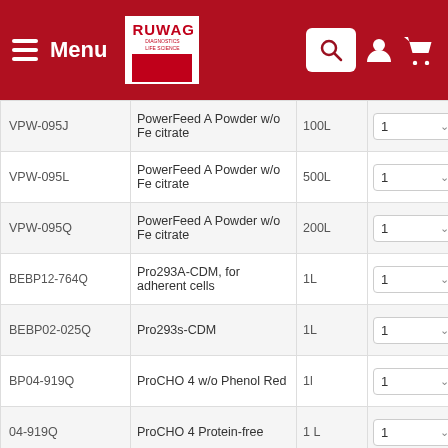Menu | RUWAG Diagnostics Life Science | Search | User | Cart
| Product Code | Product Name | Size | Qty |  |
| --- | --- | --- | --- | --- |
| VPW-095J | PowerFeed A Powder w/o Fe citrate | 100L | 1 |  |
| VPW-095L | PowerFeed A Powder w/o Fe citrate | 500L | 1 |  |
| VPW-095Q | PowerFeed A Powder w/o Fe citrate | 200L | 1 |  |
| BEBP12-764Q | Pro293A-CDM, for adherent cells | 1L | 1 |  |
| BEBP02-025Q | Pro293s-CDM | 1L | 1 |  |
| BP04-919Q | ProCHO 4 w/o Phenol Red | 1l | 1 |  |
| 04-919Q | ProCHO 4 Protein-free | 1 L | 1 |  |